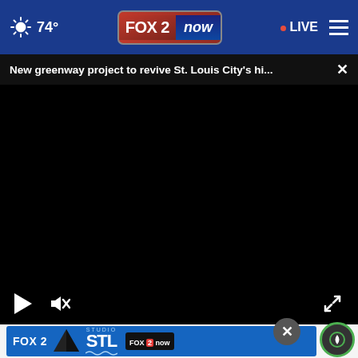74° FOX 2 now • LIVE
New greenway project to revive St. Louis City's hi...
[Figure (screenshot): Video player with black screen showing video controls: play button, mute button, and fullscreen expand button]
AROUND THE WEB
[Figure (logo): FOX 2 Studio STL FOX2now advertisement banner]